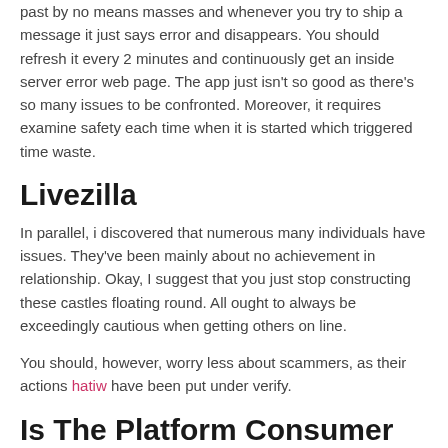past by no means masses and whenever you try to ship a message it just says error and disappears. You should refresh it every 2 minutes and continuously get an inside server error web page. The app just isn't so good as there's so many issues to be confronted. Moreover, it requires examine safety each time when it is started which triggered time waste.
Livezilla
In parallel, i discovered that numerous many individuals have issues. They've been mainly about no achievement in relationship. Okay, I suggest that you just stop constructing these castles floating round. All ought to always be exceedingly cautious when getting others on line.
You should, however, worry less about scammers, as their actions hatiw have been put under verify.
Is The Platform Consumer